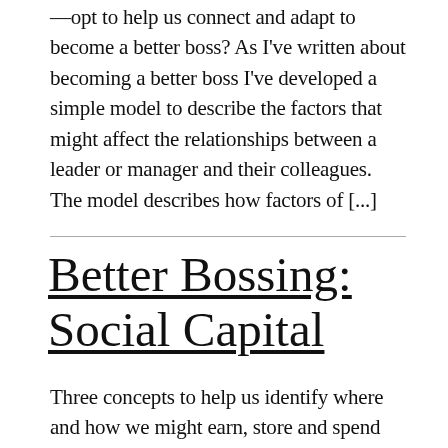—opt to help us connect and adapt to become a better boss? As I've written about becoming a better boss I've developed a simple model to describe the factors that might affect the relationships between a leader or manager and their colleagues. The model describes how factors of [...]
Better Bossing: Social Capital
Three concepts to help us identify where and how we might earn, store and spend social capital to make us and our teams more effective